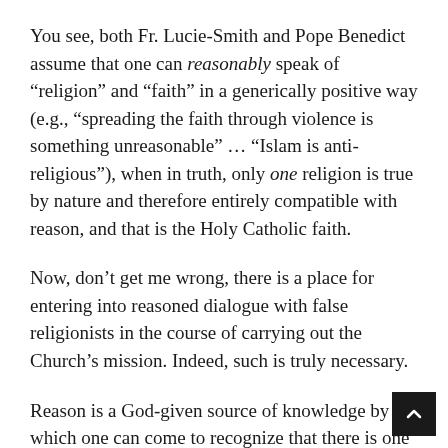You see, both Fr. Lucie-Smith and Pope Benedict assume that one can reasonably speak of “religion” and “faith” in a generically positive way (e.g., “spreading the faith through violence is something unreasonable” … “Islam is anti-religious”), when in truth, only one religion is true by nature and therefore entirely compatible with reason, and that is the Holy Catholic faith.
Now, don’t get me wrong, there is a place for entering into reasoned dialogue with false religionists in the course of carrying out the Church’s mission. Indeed, such is truly necessary.
Reason is a God-given source of knowledge by which one can come to recognize that there is one God, along with certain of His attributes, but reason has its limitations.
Fallen man is inclined to evil, and evil impairs the intellect and therefore one’s ability to reason. Man is prone, in other